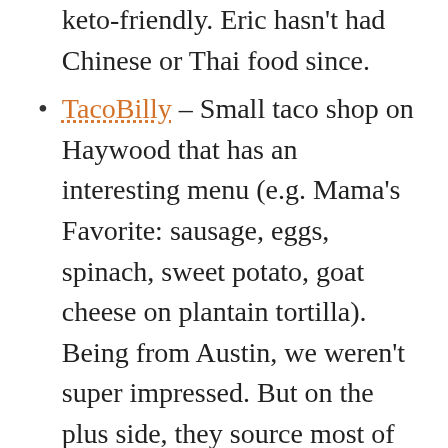keto-friendly. Eric hasn't had Chinese or Thai food since.
TacoBilly – Small taco shop on Haywood that has an interesting menu (e.g. Mama's Favorite: sausage, eggs, spinach, sweet potato, goat cheese on plantain tortilla). Being from Austin, we weren't super impressed. But on the plus side, they source most of their ingredients locally.
Papa's & Beer (two locations) – Since Eric started keto, his